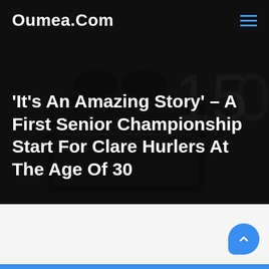Oumea.Com
'It's An Amazing Story' – A First Senior Championship Start For Clare Hurlers At The Age Of 30
[Figure (illustration): Dark background image showing a laptop keyboard and sunglasses, used as a hero banner background]
[Figure (other): Blue rounded scroll-to-top button with upward chevron arrow in bottom right of white section]